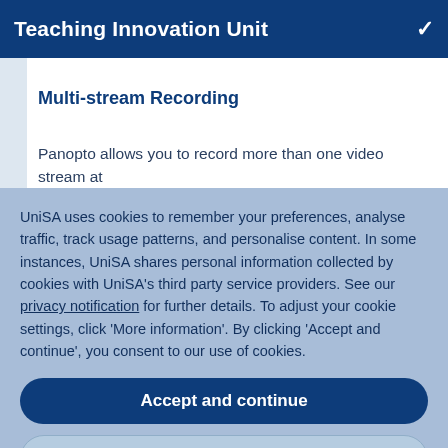Teaching Innovation Unit
Multi-stream Recording
Panopto allows you to record more than one video stream at
UniSA uses cookies to remember your preferences, analyse traffic, track usage patterns, and personalise content. In some instances, UniSA shares personal information collected by cookies with UniSA's third party service providers. See our privacy notification for further details. To adjust your cookie settings, click 'More information'. By clicking 'Accept and continue', you consent to our use of cookies.
Accept and continue
More information